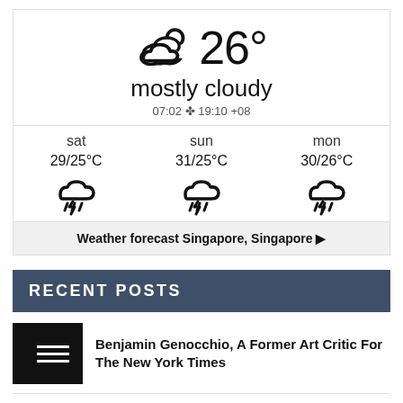[Figure (infographic): Weather widget showing mostly cloudy 26 degrees, with sunrise 07:02 and sunset 19:10 +08, and 3-day forecast for sat 29/25°C, sun 31/25°C, mon 30/26°C with thunderstorm icons]
Weather forecast Singapore, Singapore ▶
RECENT POSTS
Benjamin Genocchio, A Former Art Critic For The New York Times
Red Barn Homebuyers Launches New Franchising Website